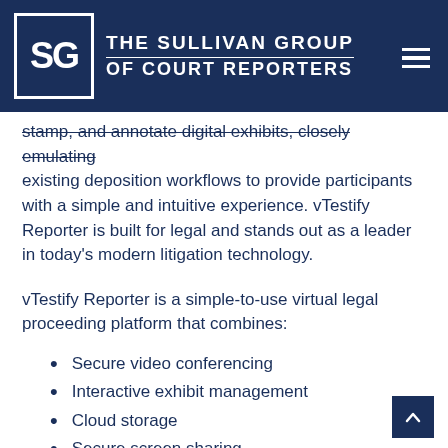[Figure (logo): The Sullivan Group of Court Reporters logo with SG letters in white box on dark blue background header bar with hamburger menu icon]
stamp, and annotate digital exhibits, closely emulating existing deposition workflows to provide participants with a simple and intuitive experience. vTestify Reporter is built for legal and stands out as a leader in today's modern litigation technology.
vTestify Reporter is a simple-to-use virtual legal proceeding platform that combines:
Secure video conferencing
Interactive exhibit management
Cloud storage
Secure screen sharing
AI powered testimony review tool